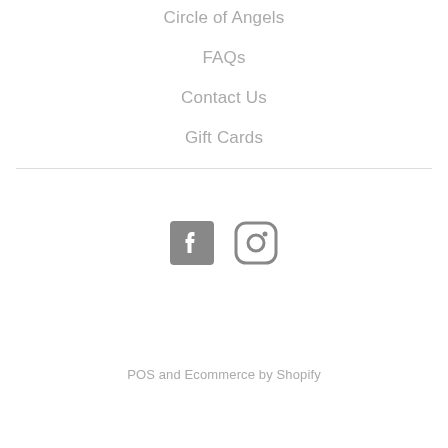Circle of Angels
FAQs
Contact Us
Gift Cards
[Figure (illustration): Social media icons: Facebook and Instagram, gray colored]
POS and Ecommerce by Shopify